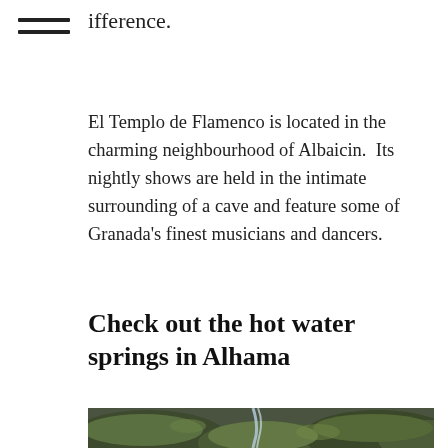ifference.
El Templo de Flamenco is located in the charming neighbourhood of Albaicin.  Its nightly shows are held in the intimate surrounding of a cave and feature some of Granada's finest musicians and dancers.
Check out the hot water springs in Alhama
[Figure (photo): Moss-covered rocks with water trickling between them, representing hot water springs in Alhama]